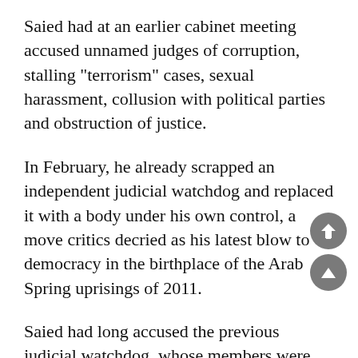Saied had at an earlier cabinet meeting accused unnamed judges of corruption, stalling "terrorism" cases, sexual harassment, collusion with political parties and obstruction of justice.
In February, he already scrapped an independent judicial watchdog and replaced it with a body under his own control, a move critics decried as his latest blow to democracy in the birthplace of the Arab Spring uprisings of 2011.
Saied had long accused the previous judicial watchdog, whose members were partly elected by parliament, of blocking politically sensitive investigations and being influenced by his nemesis, the Ennahdha party.